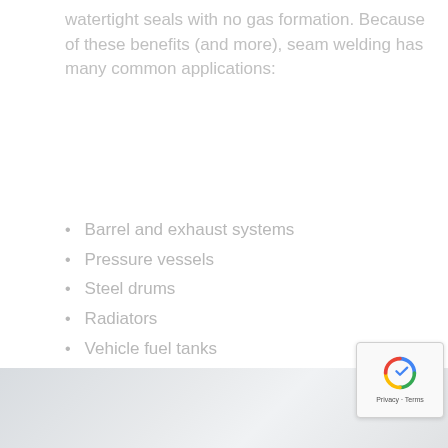watertight seals with no gas formation. Because of these benefits (and more), seam welding has many common applications:
Barrel and exhaust systems
Pressure vessels
Steel drums
Radiators
Vehicle fuel tanks
Refrigerators
Oil transformers
Much more!
[Figure (photo): Bottom portion of a page showing a grayscale industrial/welding related image, partially cropped.]